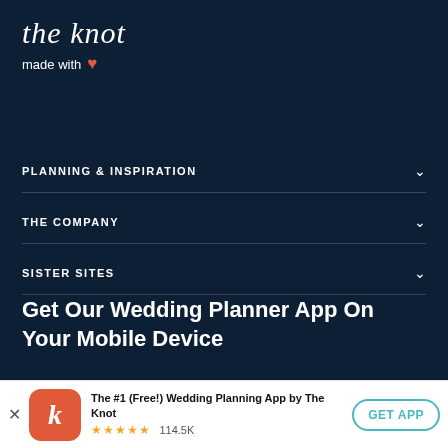the knot
made with ❤
PLANNING & INSPIRATION
THE COMPANY
SISTER SITES
Get Our Wedding Planner App On Your Mobile Device
[Figure (logo): The Knot app icon — orange/red rounded square with white italic K letter]
The #1 (Free!) Wedding Planning App by The Knot ★★★★★ 114.5K
GET APP